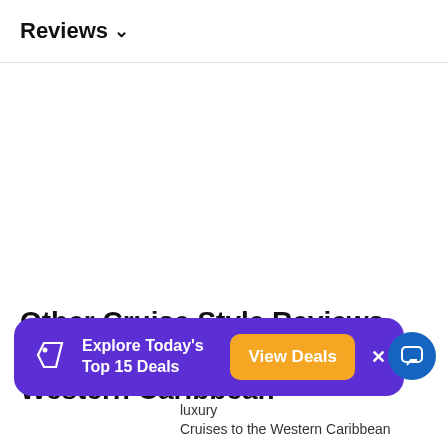Reviews ∨
Other Cruise Style Reviews for Silver Wind Cruises to the Western Caribbean
[Figure (infographic): Purple popup banner with tag icon, text 'Explore Today's Top 15 Deals', orange 'View Deals' button, and X close button]
luxury Cruises to the Western Caribbean